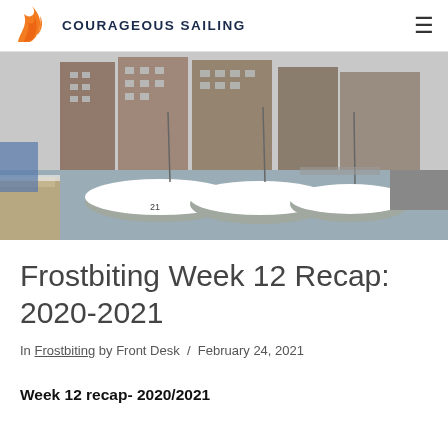COURAGEOUS SAILING
[Figure (photo): Winter marina scene with snow-covered sailboats docked at a pier, tall residential buildings visible in background, overcast sky.]
Frostbiting Week 12 Recap: 2020-2021
In Frostbiting by Front Desk / February 24, 2021
Week 12 recap- 2020/2021